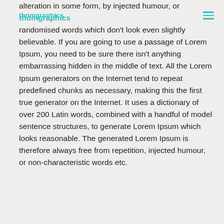thomgraphics
alteration in some form, by injected humour, or randomised words which don't look even slightly believable. If you are going to use a passage of Lorem Ipsum, you need to be sure there isn't anything embarrassing hidden in the middle of text. All the Lorem Ipsum generators on the Internet tend to repeat predefined chunks as necessary, making this the first true generator on the Internet. It uses a dictionary of over 200 Latin words, combined with a handful of model sentence structures, to generate Lorem Ipsum which looks reasonable. The generated Lorem Ipsum is therefore always free from repetition, injected humour, or non-characteristic words etc.